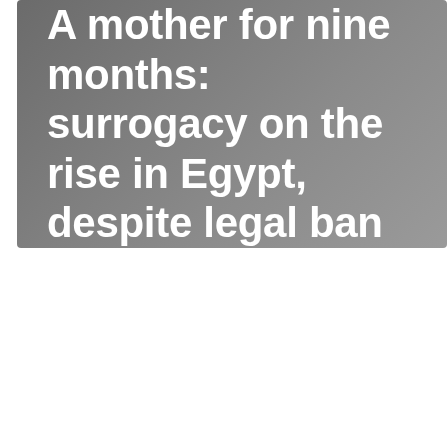A mother for nine months: surrogacy on the rise in Egypt, despite legal ban